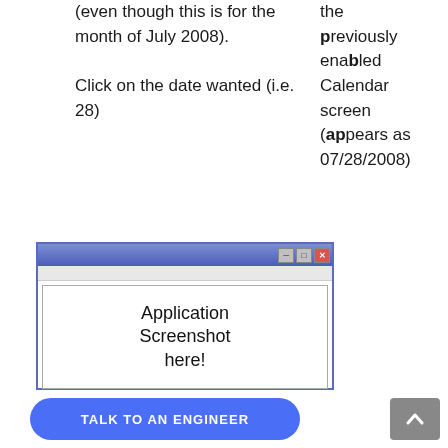(even though this is for the month of July 2008). Click on the date wanted (i.e. 28)
the previously enabled Calendar screen (appears as 07/28/2008)
[Figure (screenshot): Application window screenshot placeholder with title bar, menu bar, and body text 'Application Screenshot here!']
TALK TO AN ENGINEER